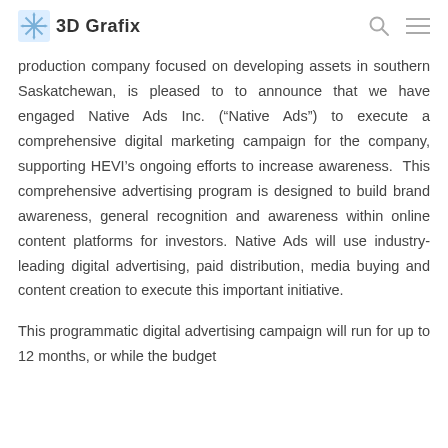3D Grafix
production company focused on developing assets in southern Saskatchewan, is pleased to to announce that we have engaged Native Ads Inc. (“Native Ads”) to execute a comprehensive digital marketing campaign for the company, supporting HEVI’s ongoing efforts to increase awareness. This comprehensive advertising program is designed to build brand awareness, general recognition and awareness within online content platforms for investors. Native Ads will use industry-leading digital advertising, paid distribution, media buying and content creation to execute this important initiative.
This programmatic digital advertising campaign will run for up to 12 months, or while the budget